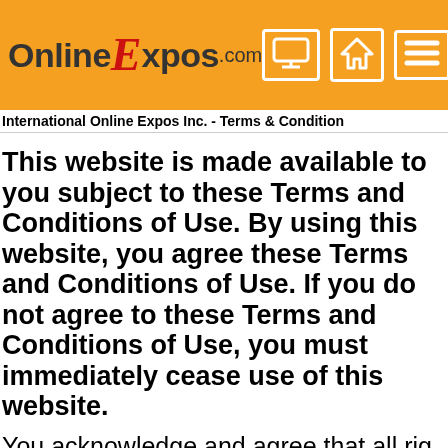[Figure (logo): OnlineExpos.com logo with orange background header bar and navigation icons (monitor, home, hamburger menu)]
International Online Expos Inc. - Terms & Condition
This website is made available to you subject to these Terms and Conditions of Use. By using this website, you agree to these Terms and Conditions of Use. If you do not agree to these Terms and Conditions of Use, you must immediately cease use of this website.
You acknowledge and agree that all rights, titles and interests in and to the HTML code, other code, information, data, software,